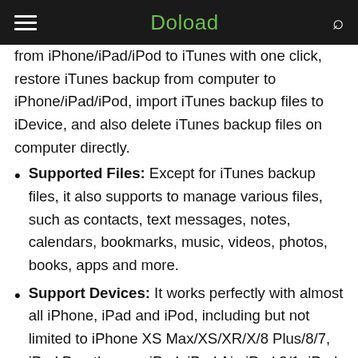Doload
from iPhone/iPad/iPod to iTunes with one click, restore iTunes backup from computer to iPhone/iPad/iPod, import iTunes backup files to iDevice, and also delete iTunes backup files on computer directly.
Supported Files: Except for iTunes backup files, it also supports to manage various files, such as contacts, text messages, notes, calendars, bookmarks, music, videos, photos, books, apps and more.
Support Devices: It works perfectly with almost all iPhone, iPad and iPod, including but not limited to iPhone XS Max/XS/XR/X/8 Plus/8/7, iPad Pro, the new iPad, iPad Air, iPad 2/1, iPad mini, iPad with Retina display, iPod touch/Shuffle/Nano/Classic and etc.
Coolmuster iOS Assistant